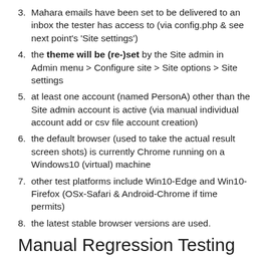3. Mahara emails have been set to be delivered to an inbox the tester has access to (via config.php & see next point's 'Site settings')
4. the theme will be (re-)set by the Site admin in Admin menu > Configure site > Site options > Site settings
5. at least one account (named PersonA) other than the Site admin account is active (via manual individual account add or csv file account creation)
6. the default browser (used to take the actual result screen shots) is currently Chrome running on a Windows10 (virtual) machine
7. other test platforms include Win10-Edge and Win10-Firefox (OSx-Safari & Android-Chrome if time permits)
8. the latest stable browser versions are used.
Manual Regression Testing